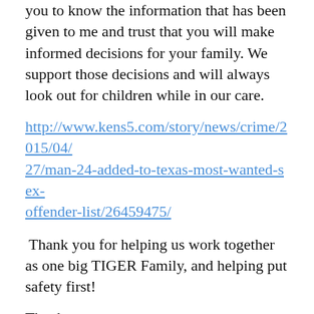you to know the information that has been given to me and trust that you will make informed decisions for your family. We support those decisions and will always look out for children while in our care.
http://www.kens5.com/story/news/crime/2015/04/27/man-24-added-to-texas-most-wanted-sex-offender-list/26459475/
Thank you for helping us work together as one big TIGER Family, and helping put safety first!
Thank you,
Tara Bailey
[Figure (other): Twitter Tweet button with bird logo]
0 Comments